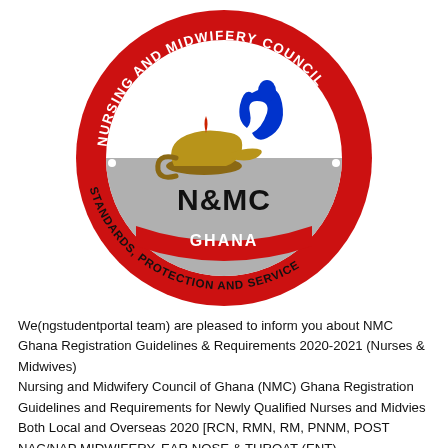[Figure (logo): Nursing and Midwifery Council Ghana (N&MC) circular logo. Red outer ring with white text 'NURSING AND MIDWIFERY COUNCIL'. Inner circle contains a golden Aladdin lamp and a blue caduceus/midwifery symbol. Lower half of inner circle is grey with bold black text 'N&MC'. Below inside circle in red band: 'GHANA'. Curved text outside bottom of circle: 'STANDARDS, PROTECTION AND SERVICE'.]
We(ngstudentportal team) are pleased to inform you about NMC Ghana Registration Guidelines & Requirements 2020-2021 (Nurses & Midwives)
Nursing and Midwifery Council of Ghana (NMC) Ghana Registration Guidelines and Requirements for Newly Qualified Nurses and Midvies Both Local and Overseas 2020 [RCN, RMN, RM, PNNM, POST NAC/NAP MIDWIFERY, EAR NOSE & THROAT (ENT),